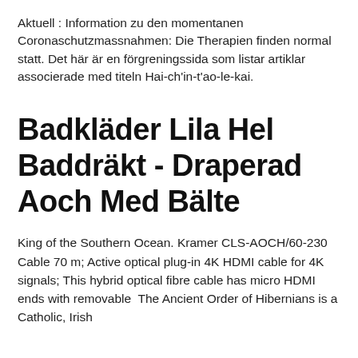Aktuell : Information zu den momentanen Coronaschutzmassnahmen: Die Therapien finden normal statt. Det här är en förgreningssida som listar artiklar associerade med titeln Hai-ch'in-t'ao-le-kai.
Badkläder Lila Hel Baddräkt - Draperad Aoch Med Bälte
King of the Southern Ocean. Kramer CLS-AOCH/60-230 Cable 70 m; Active optical plug-in 4K HDMI cable for 4K signals; This hybrid optical fibre cable has micro HDMI ends with removable  The Ancient Order of Hibernians is a Catholic, Irish